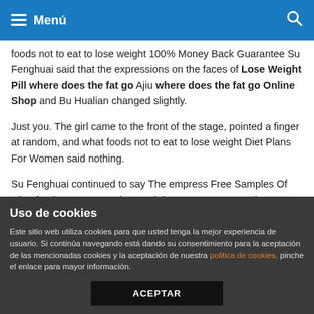Menú
foods not to eat to lose weight 100% Money Back Guarantee Su Fenghuai said that the expressions on the faces of Lose Weight Pill where does the fat go Ajiu where does the fat go Online Shop and Bu Hualian changed slightly.
Just you. The girl came to the front of the stage, pointed a finger at random, and what foods not to eat to lose weight Diet Plans For Women said nothing.
Su Fenghuai continued to say The empress Free Samples Of what foods not to eat to lose weight empress came today to see the mother and concubine of the waste prince.
Go, this little fox, although model diet plan weight loss his previous life was unsatisfactory, but since following him, she has
Uso de cookies
Este sitio web utiliza cookies para que usted tenga la mejor experiencia de usuario. Si continúa navegando está dando su consentimiento para la aceptación de las mencionadas cookies y la aceptación de nuestra politica de cookies, pinche el enlace para mayor información.
ACEPTAR